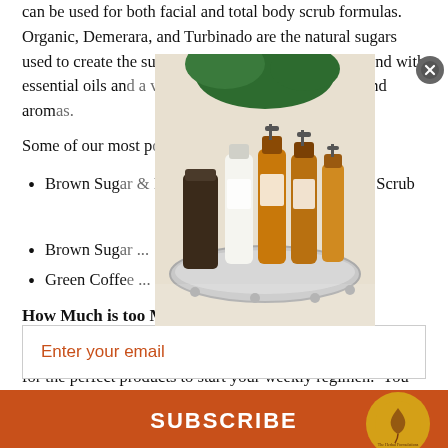can be used for both facial and total body scrub formulas. Organic, Demerara, and Turbinado are the natural sugars used to create the sugar scrub traditionally well to blend with essential oils and a variety of wonderful fragrances and aromas.
Some of our most p...
Brown Sugar ... mint Acne Fighting Facial Scrub
Brown Sug...
Green Coffe...
How Much is too Much
SIGN UP FOR EXCLUSIVE REWARDS
There are so many options to choose from when you search for the perfect products to start your weekly regimen. You may f...
Enter your email
SUBSCRIBE
great results and obtain the healthiest possible skin. w... t...
While skin types, age and conditions such as climate play a factor in how often you exfoliate.
[Figure (photo): Skincare products arranged on a mirrored tray, including amber/brown bottles with spray tops and a dark jar, with green plant in background.]